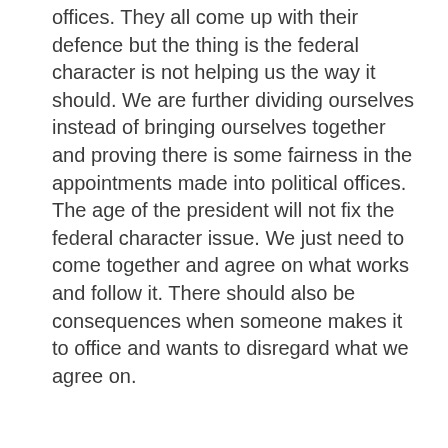offices. They all come up with their defence but the thing is the federal character is not helping us the way it should. We are further dividing ourselves instead of bringing ourselves together and proving there is some fairness in the appointments made into political offices. The age of the president will not fix the federal character issue. We just need to come together and agree on what works and follow it. There should also be consequences when someone makes it to office and wants to disregard what we agree on.
[Figure (other): Broken/unloaded image placeholder]